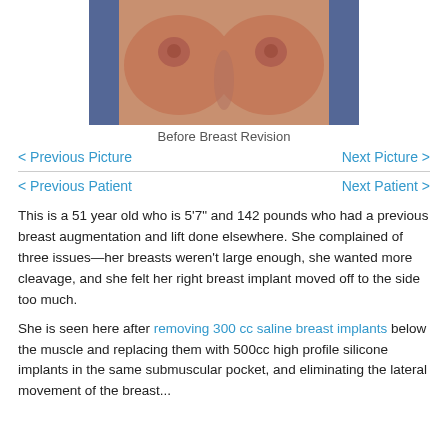[Figure (photo): Clinical before photo showing frontal view of patient's chest after breast revision surgery]
Before Breast Revision
< Previous Picture
Next Picture >
< Previous Patient
Next Patient >
This is a 51 year old who is 5'7" and 142 pounds who had a previous breast augmentation and lift done elsewhere. She complained of three issues—her breasts weren't large enough, she wanted more cleavage, and she felt her right breast implant moved off to the side too much.
She is seen here after removing 300 cc saline breast implants below the muscle and replacing them with 500cc high profile silicone implants in the same submuscular pocket, and eliminating the lateral movement of the breast...